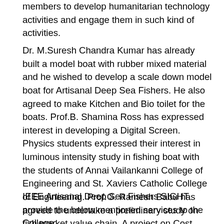members to develop humanitarian technology activities and engage them in such kind of activities.
Dr. M.Suresh Chandra Kumar has already built a model boat with rubber mixed material and he wished to develop a scale down model boat for Artisanal Deep Sea Fishers. He also agreed to make Kitchen and Bio toilet for the boats. Prof.B. Shamina Ross has expressed interest in developing a Digital Screen. Physics students expressed their interest in luminous intensity study in fishing boat with the students of Annai Vailankanni College of Engineering and St. Xaviers Catholic College of Engineering. Prof.G. Ramesh Babu has agreed to undertake a preliminary study on fish market value chain. A project on Cost Benefit Analysis for a Fishing Boat to the B.Com students lead by Mr. Jeniston
IEEE Artisanal Deep Sea Fishers SIGHT provide the below mentioned services to the College: